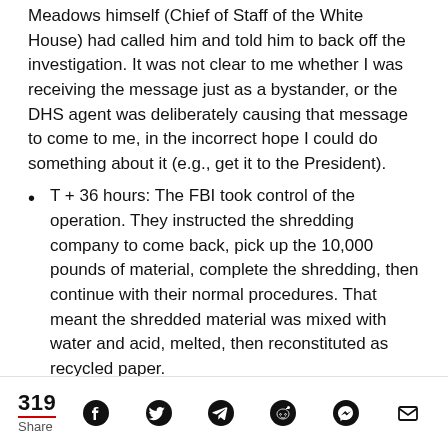Meadows himself (Chief of Staff of the White House) had called him and told him to back off the investigation. It was not clear to me whether I was receiving the message just as a bystander, or the DHS agent was deliberately causing that message to come to me, in the incorrect hope I could do something about it (e.g., get it to the President).
T + 36 hours: The FBI took control of the operation. They instructed the shredding company to come back, pick up the 10,000 pounds of material, complete the shredding, then continue with their normal procedures. That meant the shredded material was mixed with water and acid, melted, then reconstituted as recycled paper.
319 Share